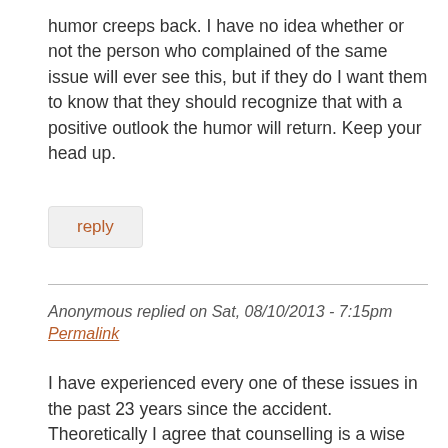humor creeps back. I have no idea whether or not the person who complained of the same issue will ever see this, but if they do I want them to know that they should recognize that with a positive outlook the humor will return. Keep your head up.
reply
Anonymous replied on Sat, 08/10/2013 - 7:15pm
Permalink
I have experienced every one of these issues in the past 23 years since the accident. Theoretically I agree that counselling is a wise choice but the problem with that is most 'professionals' are swayed by their standardized understandings and approaches.